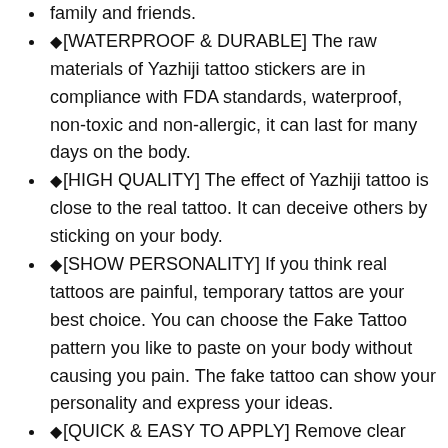family and friends.
♦[WATERPROOF & DURABLE] The raw materials of Yazhiji tattoo stickers are in compliance with FDA standards, waterproof, non-toxic and non-allergic, it can last for many days on the body.
♦[HIGH QUALITY] The effect of Yazhiji tattoo is close to the real tattoo. It can deceive others by sticking on your body.
♦[SHOW PERSONALITY] If you think real tattoos are painful, temporary tattos are your best choice. You can choose the Fake Tattoo pattern you like to paste on your body without causing you pain. The fake tattoo can show your personality and express your ideas.
♦[QUICK & EASY TO APPLY] Remove clear film, Apply tattoo on clean dry skin, dab tattoo with damp